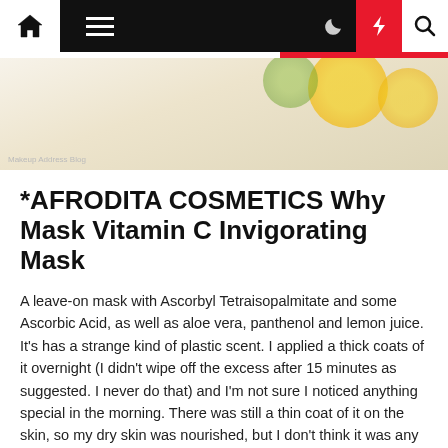Navigation bar with home, menu, moon, lightning, and search icons
[Figure (photo): Partial hero image showing what appears to be a cosmetic product with yellow/citrus styling on a light background. Image credit: Makeup Address Blog]
*AFRODITA COSMETICS Why Mask Vitamin C Invigorating Mask
A leave-on mask with Ascorbyl Tetraisopalmitate and some Ascorbic Acid, as well as aloe vera, panthenol and lemon juice. It's has a strange kind of plastic scent. I applied a thick coats of it overnight (I didn't wipe off the excess after 15 minutes as suggested. I never do that) and I'm not sure I noticed anything special in the morning. There was still a thin coat of it on the skin, so my dry skin was nourished, but I don't think it was any brighter. You could use this as a regular moisturiser, as you get plenty of product in the pack.